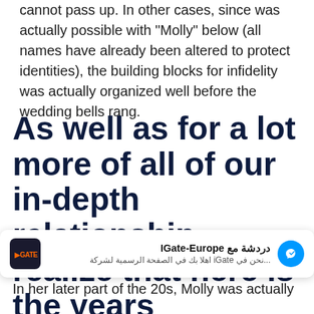cannot pass up. In other cases, since was actually possible with “Molly” below (all names have already been altered to protect identities), the building blocks for infidelity was actually organized well before the wedding bells rang.
As well as for a lot more of all of our in-depth relationship, realize that here is the years whenever Men Are likely to swindle
[Figure (screenshot): Facebook Messenger notification bar for IGate-Europe showing Arabic text: نحن في iGate اهلا بك في الصفحة الرسمية لشركة... with messenger icon]
In her later part of the 20s, Molly was actually